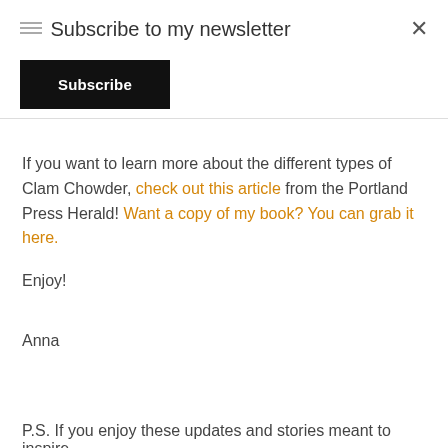Subscribe to my newsletter
Subscribe
If you want to learn more about the different types of Clam Chowder, check out this article from the Portland Press Herald! Want a copy of my book? You can grab it here.
Enjoy!
Anna
P.S. If you enjoy these updates and stories meant to inspire